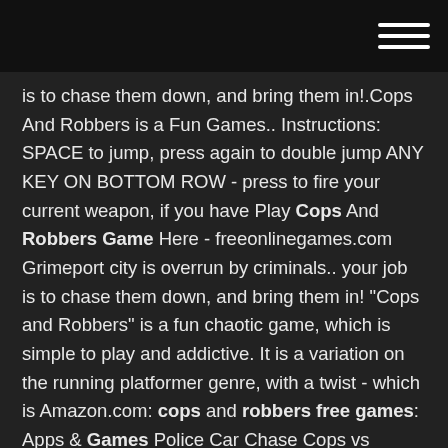[hamburger menu icon]
is to chase them down, and bring them in!.Cops And Robbers is a Fun Games.. Instructions: SPACE to jump, press again to double jump ANY KEY ON BOTTOM ROW - press to fire your current weapon, if you have Play Cops And Robbers Game Here - freeonlinegames.com Grimeport city is overrun by criminals.. your job is to chase them down, and bring them in! "Cops and Robbers" is a fun chaotic game, which is simple to play and addictive. It is a variation on the running platformer genre, with a twist - which is Amazon.com: cops and robbers free games: Apps & Games Police Car Chase Cops vs Robbers : 3d Games race Ops for kids fire bike bus city block dog free ems jail jeep jet k-9 cop duty quest quad truck van 3 Gta 2018 5 911 and army n 2 oops run sim town crime scene auto battle guy mafia